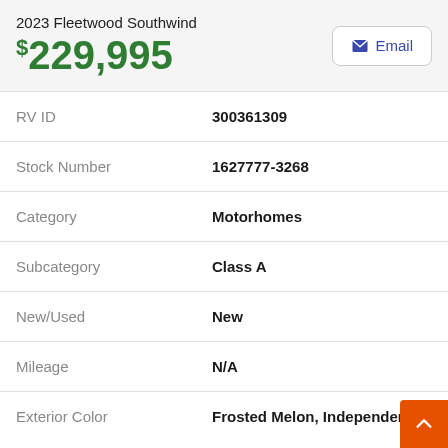2023 Fleetwood Southwind
$229,995
| Field | Value |
| --- | --- |
| RV ID | 300361309 |
| Stock Number | 1627777-3268 |
| Category | Motorhomes |
| Subcategory | Class A |
| New/Used | New |
| Mileage | N/A |
| Exterior Color | Frosted Melon, Independence, Intrig... |